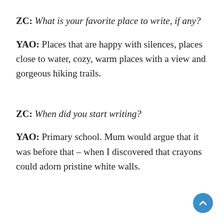ZC: What is your favorite place to write, if any?
YAO: Places that are happy with silences, places close to water, cozy, warm places with a view and gorgeous hiking trails.
ZC: When did you start writing?
YAO: Primary school. Mum would argue that it was before that – when I discovered that crayons could adorn pristine white walls.